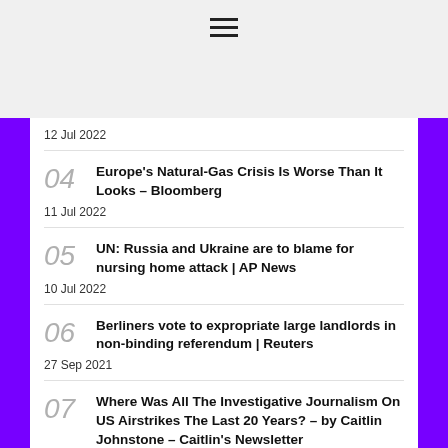≡
12 Jul 2022
04 Europe's Natural-Gas Crisis Is Worse Than It Looks – Bloomberg
11 Jul 2022
05 UN: Russia and Ukraine are to blame for nursing home attack | AP News
10 Jul 2022
06 Berliners vote to expropriate large landlords in non-binding referendum | Reuters
27 Sep 2021
07 Where Was All The Investigative Journalism On US Airstrikes The Last 20 Years? – by Caitlin Johnstone – Caitlin's Newsletter
18 Sep 2021